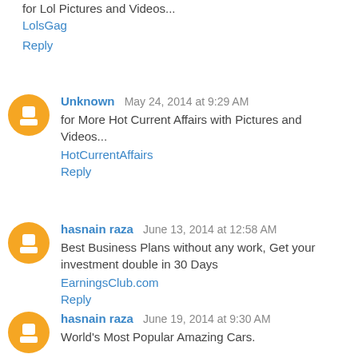for Lol Pictures and Videos...
LolsGag
Reply
Unknown  May 24, 2014 at 9:29 AM
for More Hot Current Affairs with Pictures and Videos...
HotCurrentAffairs
Reply
hasnain raza  June 13, 2014 at 12:58 AM
Best Business Plans without any work, Get your investment double in 30 Days
EarningsClub.com
Reply
hasnain raza  June 19, 2014 at 9:30 AM
World's Most Popular Amazing Cars.